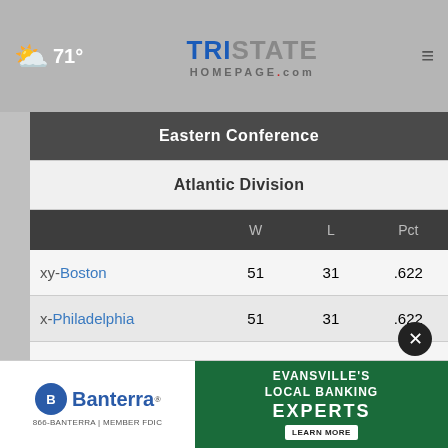71° | Tristate Homepage.com
|  | W | L | Pct |
| --- | --- | --- | --- |
| Eastern Conference |  |  |  |
| Atlantic Division |  |  |  |
| xy-Boston | 51 | 31 | .622 |
| x-Philadelphia | 51 | 31 | .622 |
| x-Toronto | 48 | 34 | .585 |
| x-Brooklyn | 44 | 38 | .537 |
| New York | 37 | 45 | .451 |
[Figure (logo): Banterra Evansville's Local Banking Experts advertisement banner]